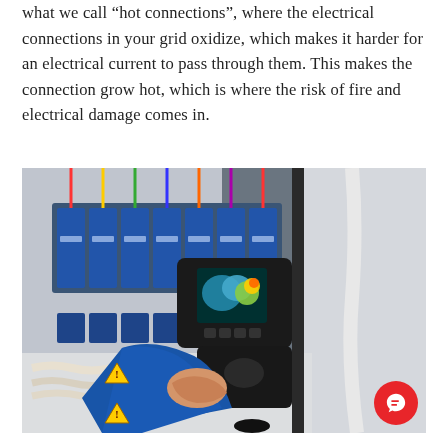what we call "hot connections", where the electrical connections in your grid oxidize, which makes it harder for an electrical current to pass through them. This makes the connection grow hot, which is where the risk of fire and electrical damage comes in.
[Figure (photo): A technician in a blue jacket holding a thermal imaging camera pointed at an electrical panel/breaker box with blue terminal blocks and wiring, inspecting for hot connections. A red chat bubble icon is visible in the bottom-right corner.]